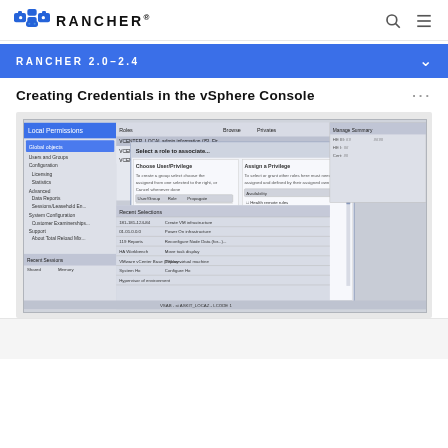RANCHER
RANCHER 2.0-2.4
Creating Credentials in the vSphere Console
[Figure (screenshot): Screenshot of vSphere console showing a dialog for assigning privileges/roles, with a tree of checkboxes listing permissions such as Datastore, Host profile, Inventory, Network, Resource, Storage views, Tasks, Transfer log target, vApp, vCenter inventory service, Profile-driven storage, and other group. The background shows a vSphere UI with tasks and virtual machines listed.]